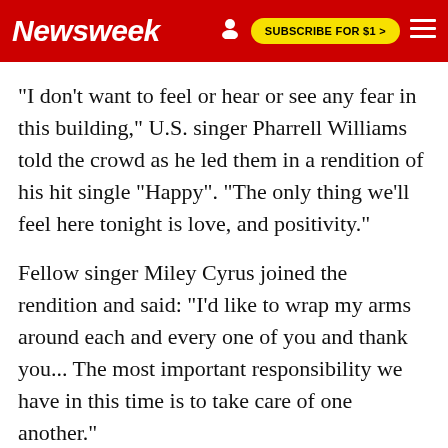Newsweek | SUBSCRIBE FOR $1 >
"I don't want to feel or hear or see any fear in this building," U.S. singer Pharrell Williams told the crowd as he led them in a rendition of his hit single "Happy". "The only thing we'll feel here tonight is love, and positivity."
Fellow singer Miley Cyrus joined the rendition and said: "I'd like to wrap my arms around each and every one of you and thank you... The most important responsibility we have in this time is to take care of one another."